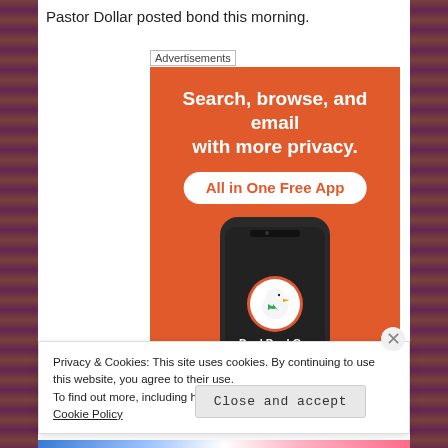Pastor Dollar posted bond this morning.
Advertisements
[Figure (screenshot): DuckDuckGo advertisement banner on an orange background. Text reads: 'Search, browse, and email with more privacy. All in One Free App' with a phone showing the DuckDuckGo logo.]
Privacy & Cookies: This site uses cookies. By continuing to use this website, you agree to their use.
To find out more, including how to control cookies, see here: Cookie Policy
Close and accept